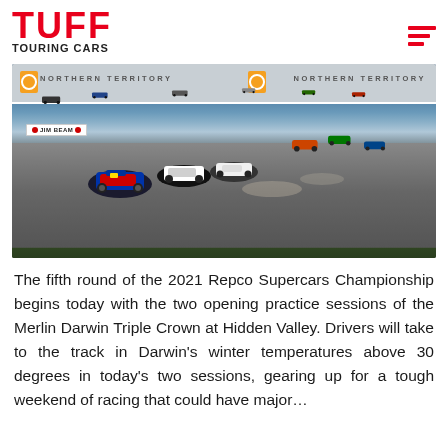TUFF TOURING CARS
[Figure (photo): Racing cars on track at Hidden Valley Darwin, with Northern Territory advertising banners on the pit wall. Multiple touring cars including a Red Bull-liveried car leading the pack on a corner. Jim Beam signage visible.]
The fifth round of the 2021 Repco Supercars Championship begins today with the two opening practice sessions of the Merlin Darwin Triple Crown at Hidden Valley. Drivers will take to the track in Darwin's winter temperatures above 30 degrees in today's two sessions, gearing up for a tough weekend of racing that could have major…